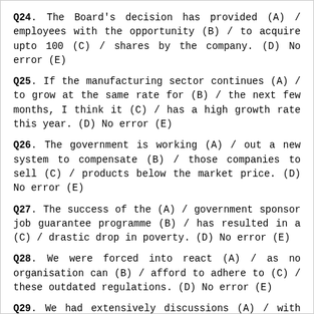Q24. The Board's decision has provided (A) / employees with the opportunity (B) / to acquire upto 100 (C) / shares by the company. (D) No error (E)
Q25. If the manufacturing sector continues (A) / to grow at the same rate for (B) / the next few months, I think it (C) / has a high growth rate this year. (D) No error (E)
Q26. The government is working (A) / out a new system to compensate (B) / those companies to sell (C) / products below the market price. (D) No error (E)
Q27. The success of the (A) / government sponsor job guarantee programme (B) / has resulted in a (C) / drastic drop in poverty. (D) No error (E)
Q28. We were forced into react (A) / as no organisation can (B) / afford to adhere to (C) / these outdated regulations. (D) No error (E)
Q29. We had extensively discussions (A) / with the participants (B) / to obtain their feedback (C) /